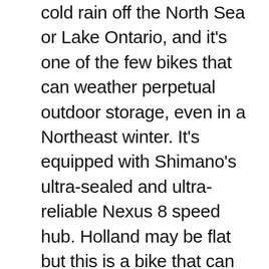cold rain off the North Sea or Lake Ontario, and it's one of the few bikes that can weather perpetual outdoor storage, even in a Northeast winter. It's equipped with Shimano's ultra-sealed and ultra-reliable Nexus 8 speed hub. Holland may be flat but this is a bike that can climb, and that's due to the wide gear range built into the Nexus 8 speed hub. Within both hubs are powerful drum brakes, also sealed from the weather, and in the front hub a dynamo to produce electricity for the German-made lighting system. The list of features is near-endless: Schwalbe's top puncture-resistant tire, the Marathon Plus; a Hebie double kickstand with a steering stabilizer, the ever-useful Dutch rear-wheel lock, a luxury Brooks B67 saddle. Yes, this is a bike that is meant to be your car.